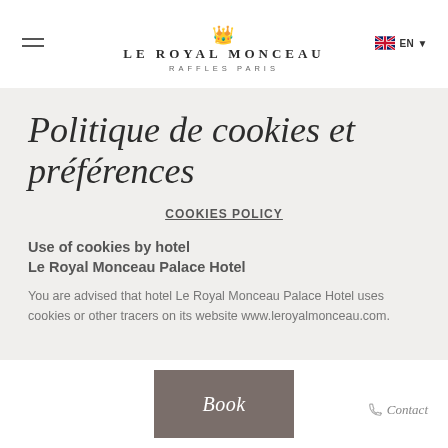LE ROYAL MONCEAU RAFFLES PARIS — EN
Politique de cookies et préférences
COOKIES POLICY
Use of cookies by hotel Le Royal Monceau Palace Hotel
You are advised that hotel Le Royal Monceau Palace Hotel uses cookies or other tracers on its website www.leroyalmonceau.com.
Book   Contact